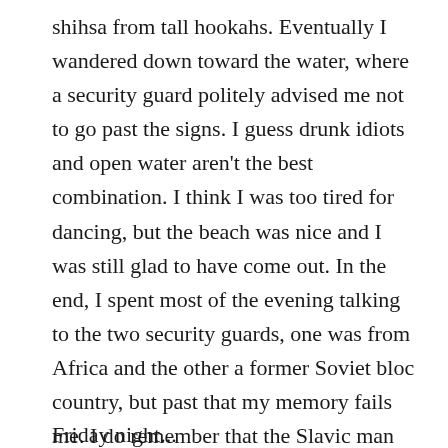shihsa from tall hookahs. Eventually I wandered down toward the water, where a security guard politely advised me not to go past the signs. I guess drunk idiots and open water aren't the best combination. I think I was too tired for dancing, but the beach was nice and I was still glad to have come out. In the end, I spent most of the evening talking to the two security guards, one was from Africa and the other a former Soviet bloc country, but past that my memory fails me. I do remember that the Slavic man was actually living in one of the Emir's palaces because the whole group that had been brought in for work had arrived before the accommodations were finished, so he was working at this beach bar shooing drunk tourists away from the water while living in a palace! Dubai!
Friday night...